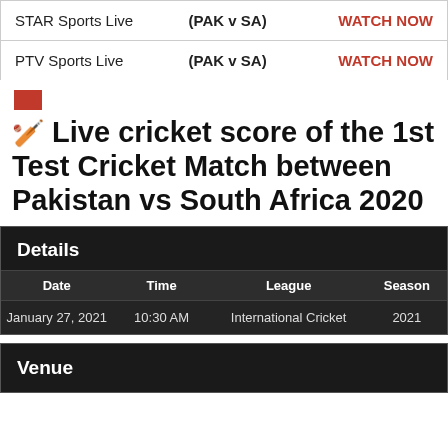| Channel | Match | Action |
| --- | --- | --- |
| STAR Sports Live | (PAK v SA) | WATCH NOW |
| PTV Sports Live | (PAK v SA) | WATCH NOW |
🏏 Live cricket score of the 1st Test Cricket Match between Pakistan vs South Africa 2020
| Date | Time | League | Season |
| --- | --- | --- | --- |
| January 27, 2021 | 10:30 AM | International Cricket | 2021 |
Venue